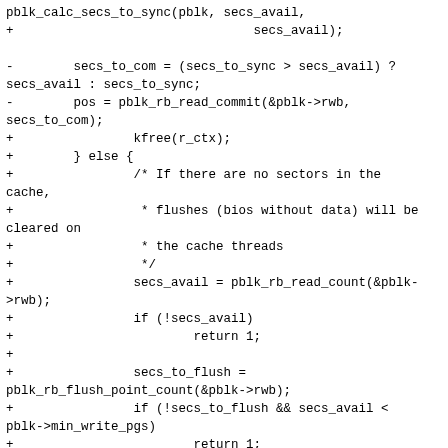[Figure (other): Code diff snippet showing C source code changes with + and - diff markers, involving sector synchronization and cache flush logic in a block device driver]